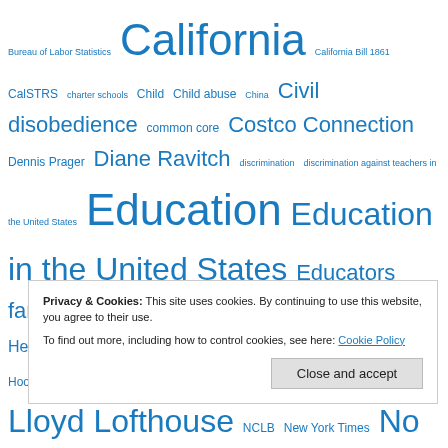Bureau of Labor Statistics California California Bill 1861 CalSTRS charter schools Child Child abuse China Civil disobedience common core Costco Connection Dennis Prager Diane Ravitch discrimination discrimination against teachers in the United States Education Education in the United States Educators family values felony crimes in California Finland George W. Bush Health High school importance of literacy incompetent teachers James Hooker Jordan Powers Kristin Olsen K through 12 literacy Lloyd Lofthouse NCLB New York Times No Child Left Behind No Child Left Behind Act Nogales High School Oprah Winfrey Oprah Winfrey Show Parent ... self-esteem self-esteem parenting Sexual abuse Standardized test
Privacy & Cookies: This site uses cookies. By continuing to use this website, you agree to their use. To find out more, including how to control cookies, see here: Cookie Policy
Close and accept